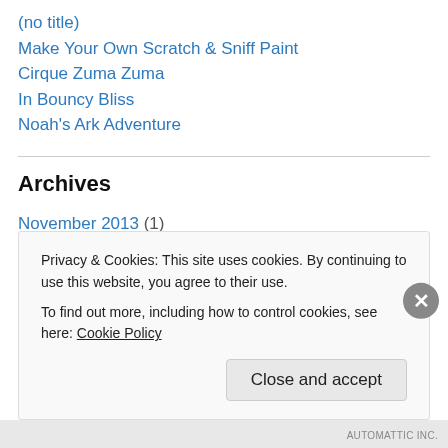(no title)
Make Your Own Scratch & Sniff Paint
Cirque Zuma Zuma
In Bouncy Bliss
Noah's Ark Adventure
Archives
November 2013 (1)
April 2013 (4)
March 2013 (9)
February 2013 (10)
January 2013 (2)
Privacy & Cookies: This site uses cookies. By continuing to use this website, you agree to their use.
To find out more, including how to control cookies, see here: Cookie Policy
Close and accept